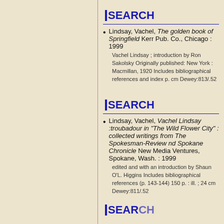SEARCH
Lindsay, Vachel, The golden book of Springfield Kerr Pub. Co., Chicago : 1999
Vachel Lindsay ; introduction by Ron Sakolsky Originally published: New York : Macmillan, 1920 Includes bibliographical references and index p. cm Dewey:813/.52
SEARCH
Lindsay, Vachel, Vachel Lindsay :troubadour in "The Wild Flower City" : collected writings from The Spokesman-Review nd Spokane Chronicle New Media Ventures, Spokane, Wash. : 1999
edited and with an introduction by Shaun O'L. Higgins Includes bibliographical references (p. 143-144) 150 p. : ill. ; 24 cm Dewey:811/.52
SEARCH